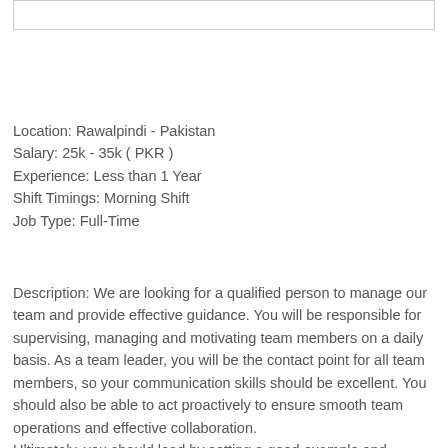[Figure (other): Empty white box with border at top of page]
Location: Rawalpindi - Pakistan
Salary: 25k - 35k ( PKR )
Experience: Less than 1 Year
Shift Timings: Morning Shift
Job Type: Full-Time
Description: We are looking for a qualified person to manage our team and provide effective guidance. You will be responsible for supervising, managing and motivating team members on a daily basis. As a team leader, you will be the contact point for all team members, so your communication skills should be excellent. You should also be able to act proactively to ensure smooth team operations and effective collaboration.
Ultimately, you should lead by setting a good example and